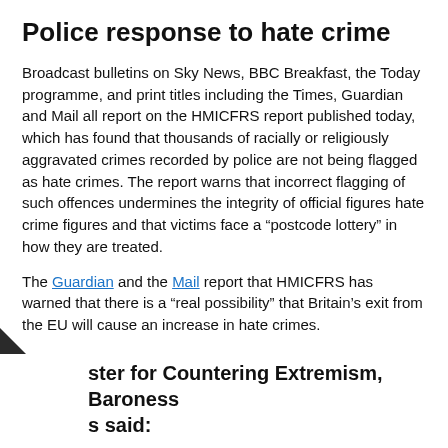Police response to hate crime
Broadcast bulletins on Sky News, BBC Breakfast, the Today programme, and print titles including the Times, Guardian and Mail all report on the HMICFRS report published today, which has found that thousands of racially or religiously aggravated crimes recorded by police are not being flagged as hate crimes. The report warns that incorrect flagging of such offences undermines the integrity of official figures hate crime figures and that victims face a “postcode lottery” in how they are treated.
The Guardian and the Mail report that HMICFRS has warned that there is a “real possibility” that Britain’s exit from the EU will cause an increase in hate crimes.
The Guardian piece also carries a statement from the National Police Chiefs Council saying that the report will help police improve address inconsistencies around the country.
ster for Countering Extremism, Baroness s said: